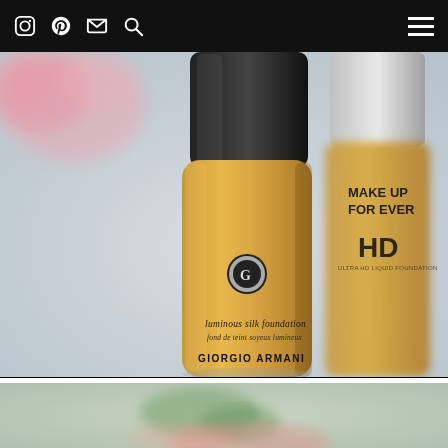Navigation bar with social icons (Instagram, Pinterest, email, search) and hamburger menu
[Figure (photo): Close-up photo of two foundation bottles on a light surface. Foreground: Giorgio Armani Luminous Silk Foundation bottle (amber/gold colored liquid, dark cap, silver GA logo, text reads 'luminous silk foundation / fond de teint soyeux lumineux / GIORGIO ARMANI'). Background: Make Up For Ever Ultra HD foundation bottle (partially visible, showing 'MAKE UP FOR EVER' and 'HD' text). Pink flower blurred in background.]
[Figure (photo): Bottom partial photo showing blurred green and pink floral elements on a light background, continuation of the beauty/cosmetics scene.]